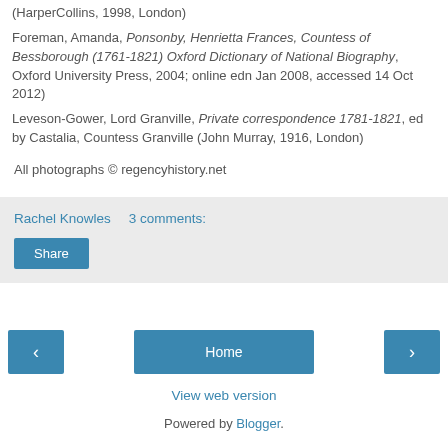(HarperCollins, 1998, London) Foreman, Amanda, Ponsonby, Henrietta Frances, Countess of Bessborough (1761-1821) Oxford Dictionary of National Biography, Oxford University Press, 2004; online edn Jan 2008, accessed 14 Oct 2012) Leveson-Gower, Lord Granville, Private correspondence 1781-1821, ed by Castalia, Countess Granville (John Murray, 1916, London)
All photographs © regencyhistory.net
Rachel Knowles   3 comments:
Share
Home
View web version
Powered by Blogger.